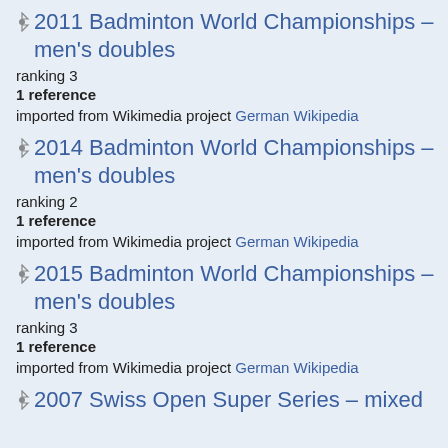2011 Badminton World Championships – men's doubles
ranking 3
1 reference
imported from Wikimedia project German Wikipedia
2014 Badminton World Championships – men's doubles
ranking 2
1 reference
imported from Wikimedia project German Wikipedia
2015 Badminton World Championships – men's doubles
ranking 3
1 reference
imported from Wikimedia project German Wikipedia
2007 Swiss Open Super Series – mixed